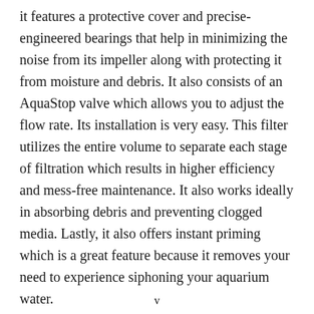it features a protective cover and precise-engineered bearings that help in minimizing the noise from its impeller along with protecting it from moisture and debris. It also consists of an AquaStop valve which allows you to adjust the flow rate. Its installation is very easy. This filter utilizes the entire volume to separate each stage of filtration which results in higher efficiency and mess-free maintenance. It also works ideally in absorbing debris and preventing clogged media. Lastly, it also offers instant priming which is a great feature because it removes your need to experience siphoning your aquarium water.
v